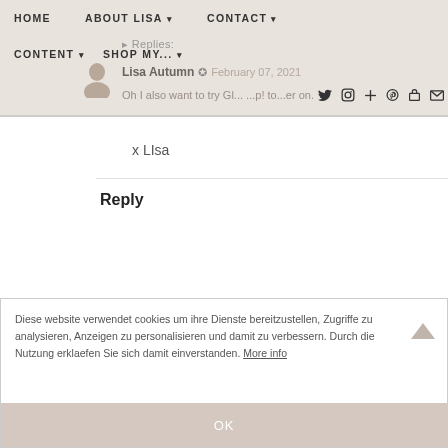HOME   ABOUT LISA ▾   CONTACT ▾   CONTENT ▾   SHOP MY... ▾
▸ Replies:
Lisa Autumn ✪  February 07, 2021
Oh I also want to try Gl... ...p! to...er on...a...
x LIsa
Reply
Thank you! xx
Diese website verwendet cookies um ihre Dienste bereitzustellen, Zugriffe zu analysieren, Anzeigen zu personalisieren und damit zu verbessern. Durch die Nutzung erklaefen Sie sich damit einverstanden. More info
OK